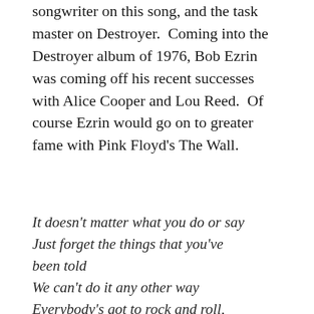songwriter on this song, and the task master on Destroyer.  Coming into the Destroyer album of 1976, Bob Ezrin was coming off his recent successes with Alice Cooper and Lou Reed.  Of course Ezrin would go on to greater fame with Pink Floyd's The Wall.
It doesn't matter what you do or say
Just forget the things that you've been told
We can't do it any other way
Everybody's got to rock and roll, whoo, oh, oh